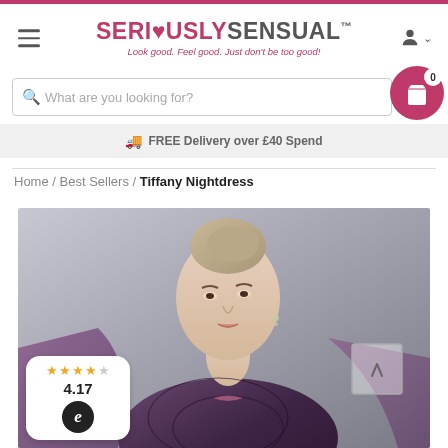[Figure (screenshot): Website header with SeriouslySensual logo, hamburger menu, user icon]
What are you looking for?
FREE Delivery over £40 Spend
Home / Best Sellers / Tiffany Nightdress
[Figure (photo): Product photo of a woman wearing the Tiffany Nightdress - a purple/black lace lingerie nightdress with matching robe. Rating badge shows 4.17 stars with eKomi logo.]